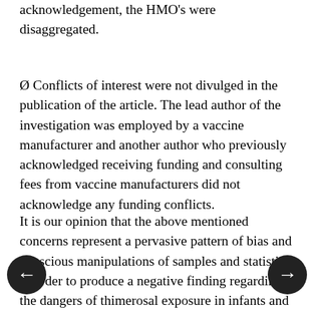acknowledgement, the HMO's were disaggregated.
Ø Conflicts of interest were not divulged in the publication of the article. The lead author of the investigation was employed by a vaccine manufacturer and another author who previously acknowledged receiving funding and consulting fees from vaccine manufacturers did not acknowledge any funding conflicts.
It is our opinion that the above mentioned concerns represent a pervasive pattern of bias and conscious manipulations of samples and statistics in order to produce a negative finding regarding the dangers of thimerosal exposure in infants and children. In addition, these series of events, including the